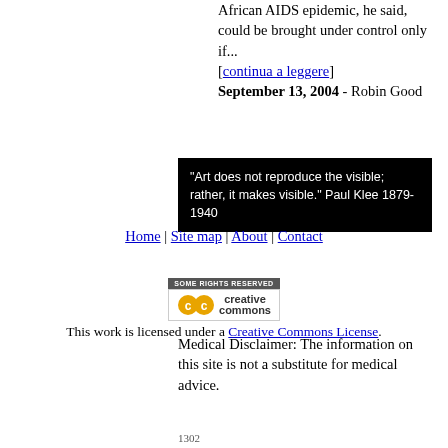African AIDS epidemic, he said, could be brought under control only if... [continua a leggere] September 13, 2004 - Robin Good
[Figure (other): Black box with white text quote: "Art does not reproduce the visible; rather, it makes visible." Paul Klee 1879-1940]
Home | Site map | About | Contact
[Figure (logo): Creative Commons license badge with 'Some Rights Reserved' text and CC logo]
This work is licensed under a Creative Commons License.
Medical Disclaimer: The information on this site is not a substitute for medical advice.
1302